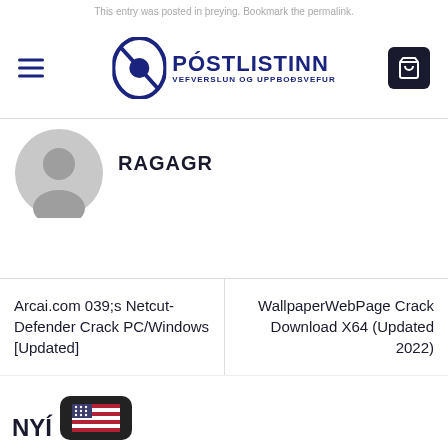This entry was posted in þreying. Bookmark the permalink.
[Figure (logo): Póstlistinn logo with circular badge and text PÓSTLISTINN VEFVERSLUN OG UPPBOÐSVEFUR]
RAGAGR
Arcai.com 039;s Netcut-Defender Crack PC/Windows [Updated]
WallpaperWebPage Crack Download X64 (Updated 2022)
[Figure (illustration): US flag icon badge in dark rounded rectangle, partial NYÍ text visible]